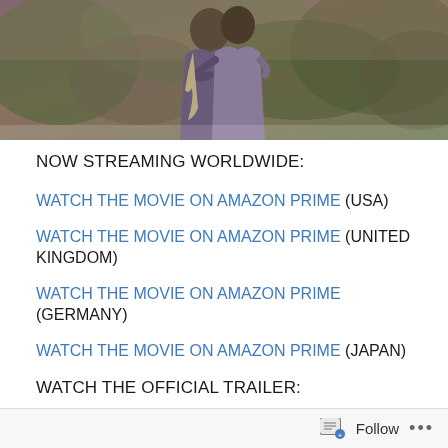[Figure (photo): Two people embracing outdoors against a background of trees and foliage in warm/purple tones]
NOW STREAMING WORLDWIDE:
WATCH THE MOVIE ON AMAZON PRIME (USA)
WATCH THE MOVIE ON AMAZON PRIME (UNITED KINGDOM)
WATCH THE MOVIE ON AMAZON PRIME (GERMANY)
WATCH THE MOVIE ON AMAZON PRIME (JAPAN)
WATCH THE OFFICIAL TRAILER:
Follow ...